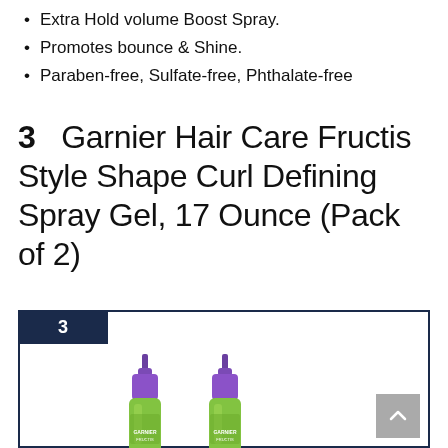Extra Hold volume Boost Spray.
Promotes bounce & Shine.
Paraben-free, Sulfate-free, Phthalate-free
3   Garnier Hair Care Fructis Style Shape Curl Defining Spray Gel, 17 Ounce (Pack of 2)
[Figure (photo): Product listing card showing two Garnier Fructis Style Shape Curl Defining Spray Gel bottles with purple pump tops and green bodies, numbered badge 3 in dark navy, with a scroll-up button in the bottom right corner.]